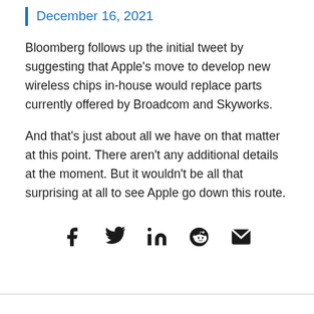December 16, 2021
Bloomberg follows up the initial tweet by suggesting that Apple’s move to develop new wireless chips in-house would replace parts currently offered by Broadcom and Skyworks.
And that’s just about all we have on that matter at this point. There aren’t any additional details at the moment. But it wouldn’t be all that surprising at all to see Apple go down this route.
[Figure (infographic): Social share icons: Facebook, Twitter, LinkedIn, Reddit, Email]